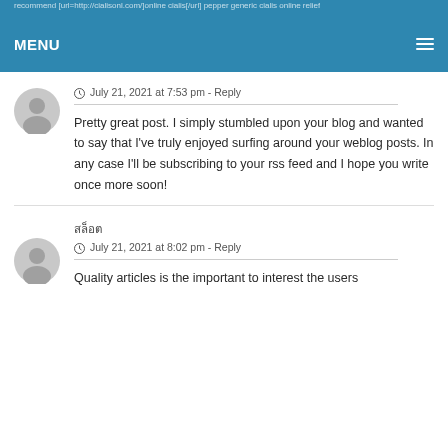recommend [url=http://cialisonl.com/]online cialis[/url] pepper generic cialis online relief MENU
July 21, 2021 at 7:53 pm - Reply
Pretty great post. I simply stumbled upon your blog and wanted to say that I've truly enjoyed surfing around your weblog posts. In any case I'll be subscribing to your rss feed and I hope you write once more soon!
สล็อต
July 21, 2021 at 8:02 pm - Reply
Quality articles is the important to interest the users